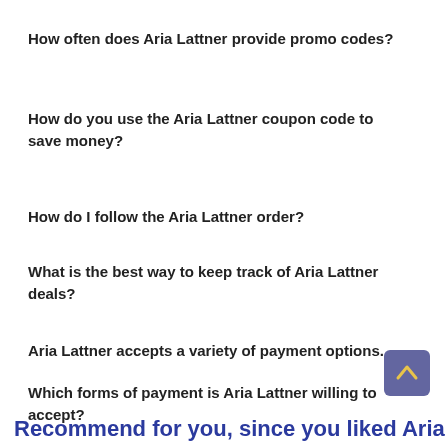How often does Aria Lattner provide promo codes?
How do you use the Aria Lattner coupon code to save money?
How do I follow the Aria Lattner order?
What is the best way to keep track of Aria Lattner deals?
Aria Lattner accepts a variety of payment options.
Which forms of payment is Aria Lattner willing to accept?
Recommend for you, since you liked Aria